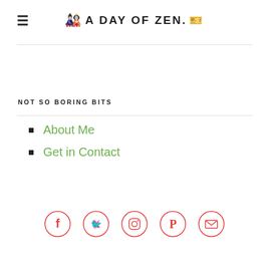🎎 A DAY OF ZEN. 🎫
NOT SO BORING BITS
About Me
Get in Contact
[Figure (other): Social media icons row: Facebook, Twitter, Instagram, Pinterest, Email — each inside a red circle outline]